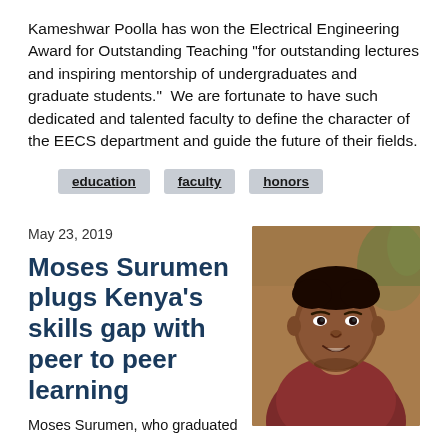Kameshwar Poolla has won the Electrical Engineering Award for Outstanding Teaching "for outstanding lectures and inspiring mentorship of undergraduates and graduate students." We are fortunate to have such dedicated and talented faculty to define the character of the EECS department and guide the future of their fields.
education
faculty
honors
May 23, 2019
Moses Surumen plugs Kenya's skills gap with peer to peer learning
Moses Surumen, who graduated
[Figure (photo): Portrait photo of Moses Surumen, a young man wearing a dark red/maroon sweater, smiling slightly, with a warm indoor background.]